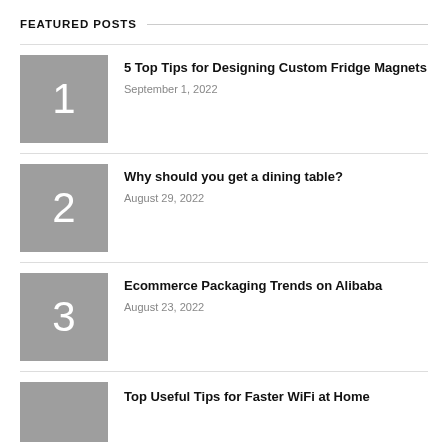FEATURED POSTS
5 Top Tips for Designing Custom Fridge Magnets
September 1, 2022
Why should you get a dining table?
August 29, 2022
Ecommerce Packaging Trends on Alibaba
August 23, 2022
Top Useful Tips for Faster WiFi at Home